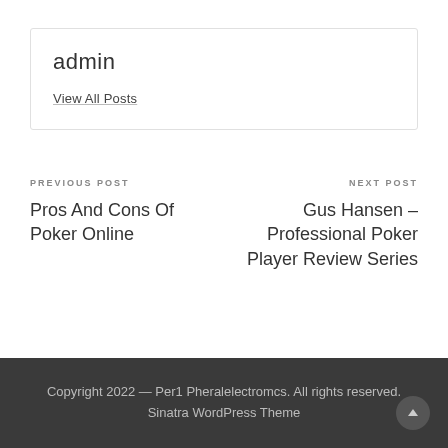admin
View All Posts
PREVIOUS POST
Pros And Cons Of Poker Online
NEXT POST
Gus Hansen – Professional Poker Player Review Series
Copyright 2022 — Per1 Pheralelectromcs. All rights reserved. Sinatra WordPress Theme